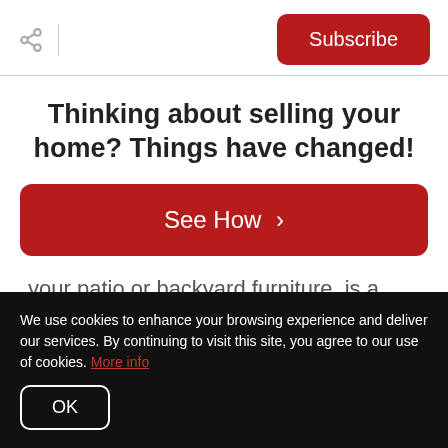Subscribe
Thinking about selling your home? Things have changed!
See How ›
your patio or backyard furniture, is a great way to add both a protective and decorative layer to these items. Many homeowners choose to restain their
We use cookies to enhance your browsing experience and deliver our services. By continuing to visit this site, you agree to our use of cookies. More info
OK